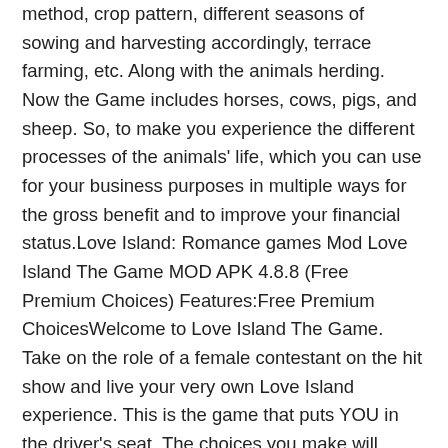method, crop pattern, different seasons of sowing and harvesting accordingly, terrace farming, etc. Along with the animals herding. Now the Game includes horses, cows, pigs, and sheep. So, to make you experience the different processes of the animals' life, which you can use for your business purposes in multiple ways for the gross benefit and to improve your financial status.Love Island: Romance games Mod Love Island The Game MOD APK 4.8.8 (Free Premium Choices) Features:Free Premium ChoicesWelcome to Love Island The Game. Take on the role of a female contestant on the hit show and live your very own Love Island experience. This is the game that puts YOU in the driver's seat. The choices you make will determine the way the story unfolds, with all the banter, drama and romance of the show.You'll choose your looks, play cheeky challenges, and get grafting. And of course, you'll go on hot dates and choose your partner in tense recouplings. Have your very own holiday romance in paradise with the first official Love Island mobile game.Get ready for the